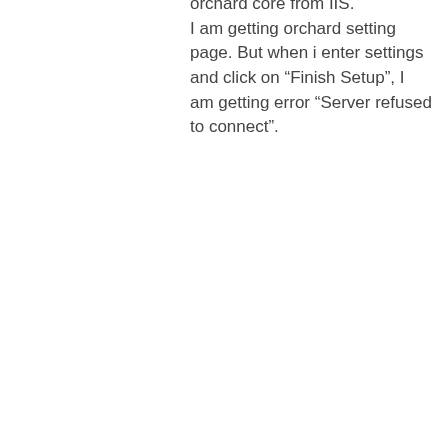orchard core from IIS. I am getting orchard setting page. But when i enter settings and click on “Finish Setup”, I am getting error “Server refused to connect”.
Please guide me
Thanks
Vishnu Tripathi
February 28, 2019 on 12:52 am
Reply
I found solution. wwwroot folder was missing when I published application.